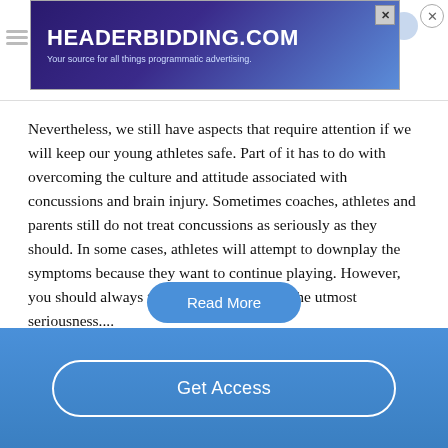[Figure (screenshot): HeaderBidding.com advertisement banner with blue/purple gradient background and white bold text reading HEADERBIDDING.COM with subtitle 'Your source for all things programmatic advertising.']
Nevertheless, we still have aspects that require attention if we will keep our young athletes safe. Part of it has to do with overcoming the culture and attitude associated with concussions and brain injury. Sometimes coaches, athletes and parents still do not treat concussions as seriously as they should. In some cases, athletes will attempt to downplay the symptoms because they want to continue playing. However, you should always take a concussion with the utmost seriousness....
Read More
Get Access